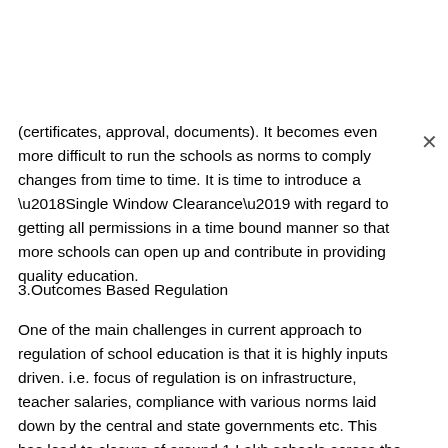(certificates, approval, documents). It becomes even more difficult to run the schools as norms to comply changes from time to time. It is time to introduce a ‘Single Window Clearance’ with regard to getting all permissions in a time bound manner so that more schools can open up and contribute in providing quality education.
3.Outcomes Based Regulation
One of the main challenges in current approach to regulation of school education is that it is highly inputs driven. i.e. focus of regulation is on infrastructure, teacher salaries, compliance with various norms laid down by the central and state governments etc. This has lead to closure of around 1 Lakh schools across the country. We must introduce a system of regulation where learning outcomes becomes the key factor in regulation of schools, both government and private.